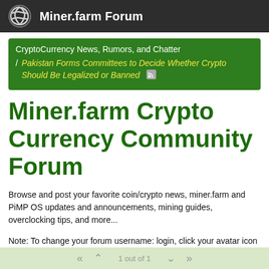Miner.farm Forum
CryptoCurrency News, Rumors, and Chatter / Pakistan Forms Committees to Decide Whether Crypto Should Be Legalized or Banned
Miner.farm Crypto Currency Community Forum
Browse and post your favorite coin/crypto news, miner.farm and PiMP OS updates and announcements, mining guides, overclocking tips, and more...
Note: To change your forum username: login, click your avatar icon (top right?), Edit Profile. Change the "full name" field to your preferred username.
1 out of 1